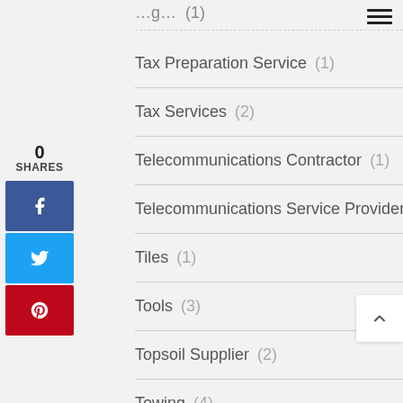Tax Preparation Service (1)
Tax Services (2)
Telecommunications Contractor (1)
Telecommunications Service Provider (2)
Tiles (1)
Tools (3)
Topsoil Supplier (2)
Towing (4)
Towing Service (5)